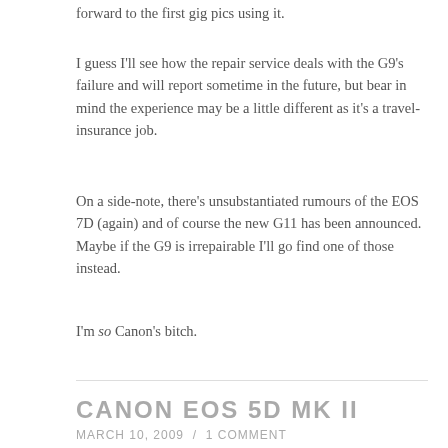forward to the first gig pics using it.
I guess I'll see how the repair service deals with the G9's failure and will report sometime in the future, but bear in mind the experience may be a little different as it's a travel-insurance job.
On a side-note, there's unsubstantiated rumours of the EOS 7D (again) and of course the new G11 has been announced. Maybe if the G9 is irrepairable I'll go find one of those instead.
I'm so Canon's bitch.
CANON EOS 5D MK II
MARCH 10, 2009 / 1 COMMENT
Happy new camera!
I now own a Canon EOS 5D Mark II – the Leeds Headrow